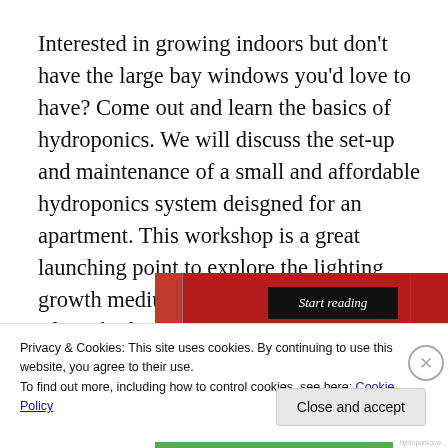Interested in growing indoors but don't have the large bay windows you'd love to have? Come out and learn the basics of hydroponics. We will discuss the set-up and maintenance of a small and affordable hydroponics system deisgned for an apartment. This workshop is a great launching point to explore the lighting, growth medium,and nutrient requirements of any hydroponics system.
[Figure (screenshot): Red banner with a black 'Start reading' button in italic text]
Privacy & Cookies: This site uses cookies. By continuing to use this website, you agree to their use.
To find out more, including how to control cookies, see here: Cookie Policy
Close and accept